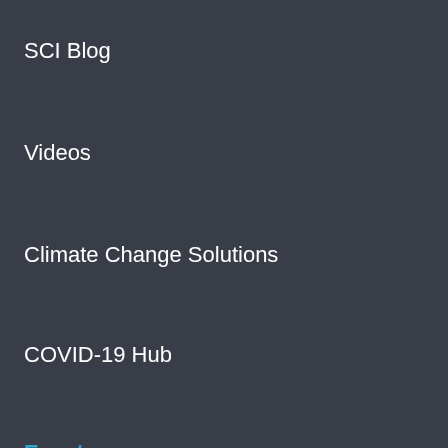SCI Blog
Videos
Climate Change Solutions
COVID-19 Hub
Events
Interest Groups